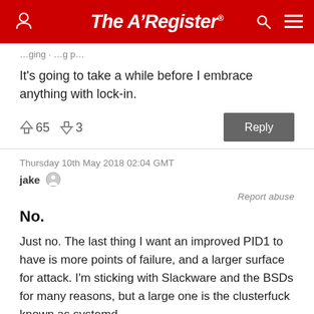The Register
It's going to take a while before I embrace anything with lock-in.
↑65  ↓3
Thursday 10th May 2018 02:04 GMT
jake
Report abuse
No.
Just no. The last thing I want an improved PID1 to have is more points of failure, and a larger surface for attack. I'm sticking with Slackware and the BSDs for many reasons, but a large one is the clusterfuck known as systemd.
And yes, I have given it a fair look. Several times, in several incarnations. It's ill-conceived at best,